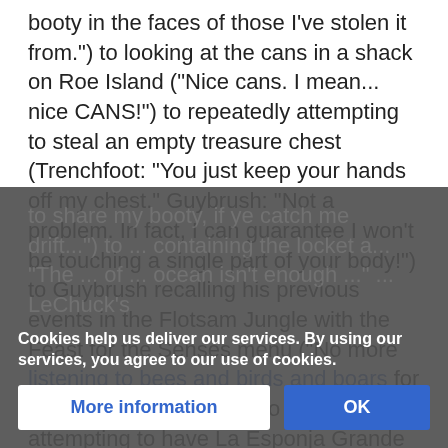booty in the faces of those I've stolen it from.") to looking at the cans in a shack on Roe Island ("Nice cans. I mean... nice CANS!") to repeatedly attempting to steal an empty treasure chest (Trenchfoot: "You just keep your hands off my chest." Guybrush: "Not a problem. In fact, I can guarantee I won't be touching a single part of your body!") to Guybrush recalling his previous events in the Flotsam Jungle with the Feast for the Senses menu ("No more listening to bees and birds and boars for THIS Mighty Pirate™!") to LeChuck attempting to have La Esponja Grande and Elaine all to himself after killing Guybrush ("But I be willin' to share my booty, if ye catch me drift...") to ... containing the locket a... "The ... ocean isn't enough ..." ... LeChuck's
Cookies help us deliver our services. By using our services, you agree to our use of cookies.